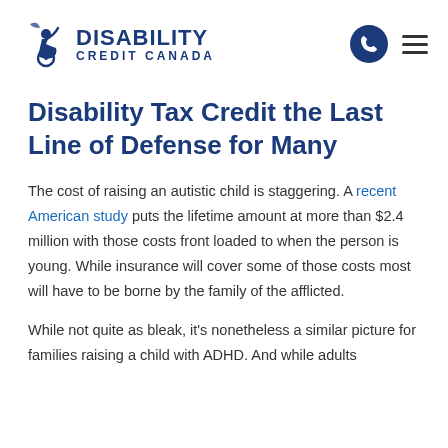Disability Credit Canada
Disability Tax Credit the Last Line of Defense for Many
The cost of raising an autistic child is staggering. A recent American study puts the lifetime amount at more than $2.4 million with those costs front loaded to when the person is young. While insurance will cover some of those costs most will have to be borne by the family of the afflicted.
While not quite as bleak, it's nonetheless a similar picture for families raising a child with ADHD. And while adults